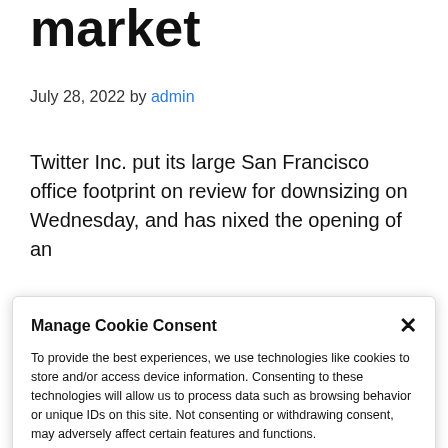market
July 28, 2022 by admin
Twitter Inc. put its large San Francisco office footprint on review for downsizing on Wednesday, and has nixed the opening of an
Manage Cookie Consent
To provide the best experiences, we use technologies like cookies to store and/or access device information. Consenting to these technologies will allow us to process data such as browsing behavior or unique IDs on this site. Not consenting or withdrawing consent, may adversely affect certain features and functions.
Accept
Cookie Policy